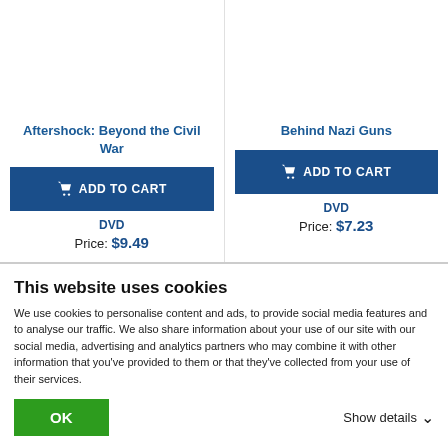Aftershock: Beyond the Civil War
Behind Nazi Guns
ADD TO CART
ADD TO CART
DVD
Price: $9.49
DVD
Price: $7.23
This website uses cookies
We use cookies to personalise content and ads, to provide social media features and to analyse our traffic. We also share information about your use of our site with our social media, advertising and analytics partners who may combine it with other information that you've provided to them or that they've collected from your use of their services.
OK
Show details